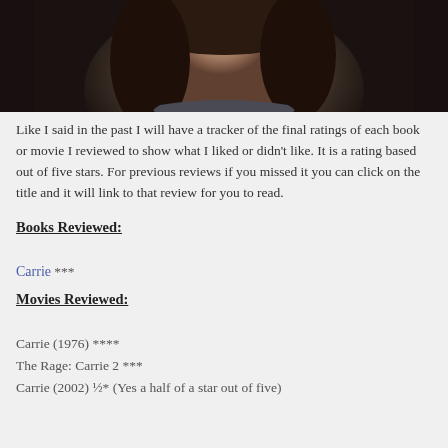[Figure (photo): Close-up photograph of a person's face and upper body in dark lighting, appearing to be a movie still or promotional image]
Like I said in the past I will have a tracker of the final ratings of each book or movie I reviewed to show what I liked or didn't like. It is a rating based out of five stars. For previous reviews if you missed it you can click on the title and it will link to that review for you to read.
Books Reviewed:
Carrie ***
Movies Reviewed:
Carrie (1976) ****
The Rage: Carrie 2 ***
Carrie (2002) ½* (Yes a half of a star out of five)